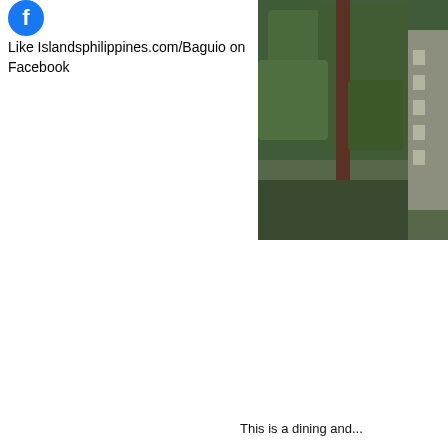[Figure (logo): Facebook logo icon, blue circle with white f]
Like Islandsphilippines.com/Baguio on Facebook
[Figure (photo): Blurry outdoor photo showing green trees, dark pole/trunk, and a building structure visible on the right side]
This is a dining and...